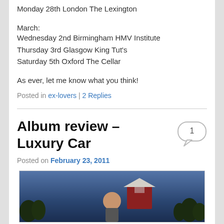Monday 28th London The Lexington
March:
Wednesday 2nd Birmingham HMV Institute
Thursday 3rd Glasgow King Tut's
Saturday 5th Oxford The Cellar
As ever, let me know what you think!
Posted in ex-lovers | 2 Replies
Album review – Luxury Car
Posted on February 23, 2011
[Figure (photo): A person outdoors with a wooden structure and trees in the background against a blue dusk sky]